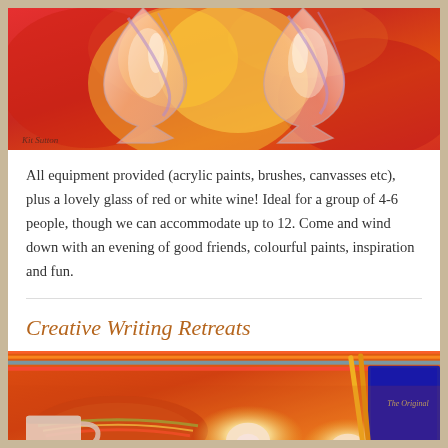[Figure (photo): Painting of two wine glasses on a warm red/orange/yellow abstract background, with an artist signature in the lower left corner]
All equipment provided (acrylic paints, brushes, canvasses etc), plus a lovely glass of red or white wine! Ideal for a group of 4-6 people, though we can accommodate up to 12. Come and wind down with an evening of good friends, colourful paints, inspiration and fun.
Creative Writing Retreats
[Figure (photo): Close-up photo of candles, a white mug, and colourful striped fabric with warm orange/yellow/red tones; a book with 'The Original' text is visible on the right]